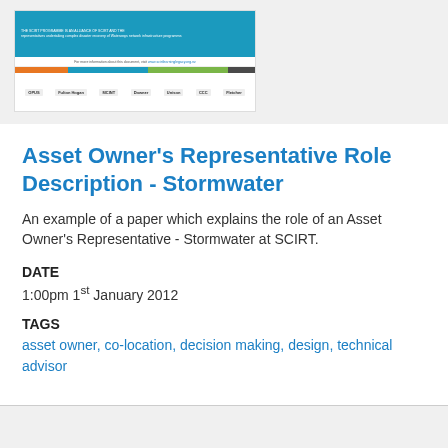[Figure (screenshot): Thumbnail of a SCIRT document cover page with blue header, color strip bar (orange, blue, green), and organization logos row at the bottom]
Asset Owner's Representative Role Description - Stormwater
An example of a paper which explains the role of an Asset Owner's Representative - Stormwater at SCIRT.
DATE
1:00pm 1st January 2012
TAGS
asset owner, co-location, decision making, design, technical advisor